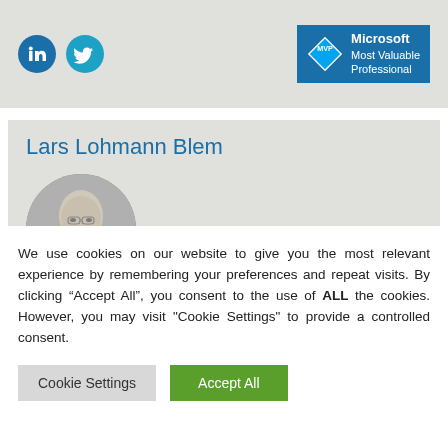[Figure (screenshot): LinkedIn and Twitter social media icons (circular colored buttons) and Microsoft MVP (Most Valuable Professional) badge logo on a light gray background]
Lars Lohmann Blem
[Figure (photo): Circular black and white profile photo of a smiling middle-aged bald man]
We use cookies on our website to give you the most relevant experience by remembering your preferences and repeat visits. By clicking “Accept All”, you consent to the use of ALL the cookies. However, you may visit "Cookie Settings" to provide a controlled consent.
Cookie Settings | Accept All